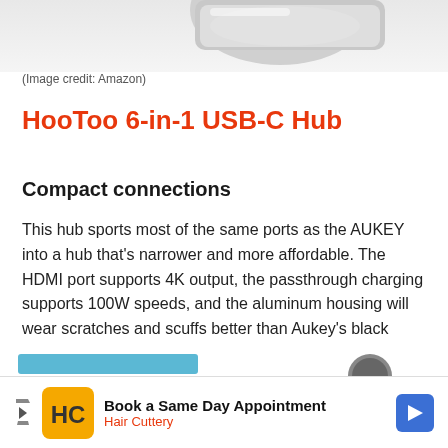[Figure (photo): Partial view of a silver USB-C hub device against a white/light gray background]
(Image credit: Amazon)
HooToo 6-in-1 USB-C Hub
Compact connections
This hub sports most of the same ports as the AUKEY into a hub that's narrower and more affordable. The HDMI port supports 4K output, the passthrough charging supports 100W speeds, and the aluminum housing will wear scratches and scuffs better than Aukey's black plastic.
[Figure (photo): Partial view of another product and advertisement banner at bottom of page for Hair Cuttery - Book a Same Day Appointment]